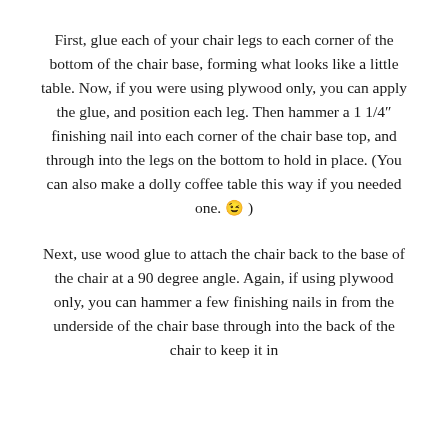First, glue each of your chair legs to each corner of the bottom of the chair base, forming what looks like a little table. Now, if you were using plywood only, you can apply the glue, and position each leg. Then hammer a 1 1/4″ finishing nail into each corner of the chair base top, and through into the legs on the bottom to hold in place. (You can also make a dolly coffee table this way if you needed one. 😉 )
Next, use wood glue to attach the chair back to the base of the chair at a 90 degree angle. Again, if using plywood only, you can hammer a few finishing nails in from the underside of the chair base through into the back of the chair to keep it in place.